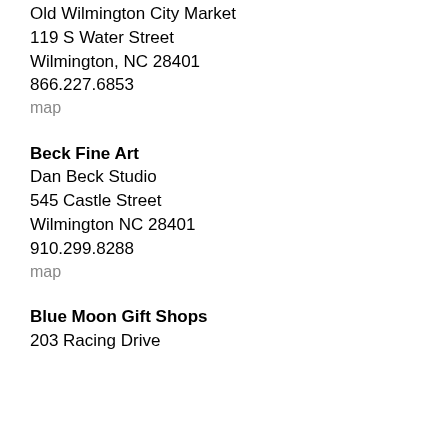Old Wilmington City Market
119 S Water Street
Wilmington, NC 28401
866.227.6853
map
Beck Fine Art
Dan Beck Studio
545 Castle Street
Wilmington NC 28401
910.299.8288
map
Blue Moon Gift Shops
203 Racing Drive